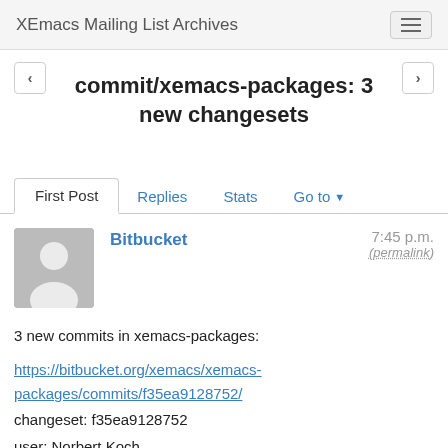XEmacs Mailing List Archives
commit/xemacs-packages: 3 new changesets
First Post  Replies  Stats  Go to
Bitbucket  7:45 p.m. (permalink)
3 new commits in xemacs-packages:
https://bitbucket.org/xemacs/xemacs-packages/commits/f35ea9128752/
changeset: f35ea9128752
user: Norbert Koch
date: 2013-03-09 20:30:14